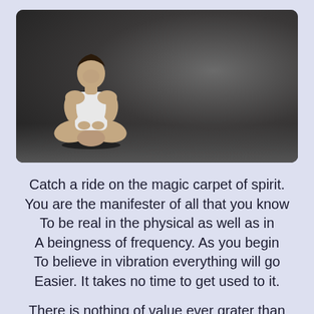[Figure (photo): A muscular man sitting cross-legged in a meditation pose against a dark gradient studio background]
Catch a ride on the magic carpet of spirit. You are the manifester of all that you know To be real in the physical as well as in A beingness of frequency. As you begin To believe in vibration everything will go Easier. It takes no time to get used to it.
There is nothing of value ever grater than To be satisfied with what you're manifesting